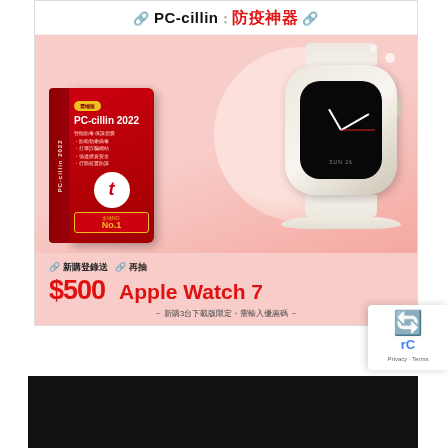[Figure (illustration): PC-cillin 防疫神器 advertisement banner. Shows PC-cillin 2022 software box (red, Trend Micro branding, No.1 badge) and Apple Watch 7 on a pink background. Promotional text: 新購登錄送 $500, 再抽 Apple Watch 7. Footnote: 新購3台下載版限定・需輸入優惠碼. Bottom area shows a dark/black image region. reCAPTCHA badge visible bottom-right.]
新購3台下載版限定・需輸入優惠碼